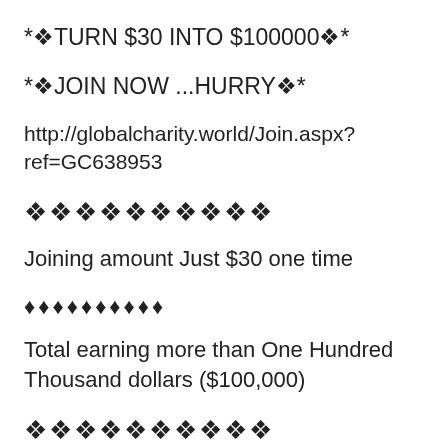*❖TURN $30 INTO $100000❖*
*❖JOIN NOW ...HURRY❖*
http://globalcharity.world/Join.aspx?ref=GC638953
❖❖❖❖❖❖❖❖❖❖
Joining amount Just $30 one time
♦♦♦♦♦♦♦♦♦♦
Total earning more than One Hundred Thousand dollars ($100,000)
❖❖❖❖❖❖❖❖❖❖